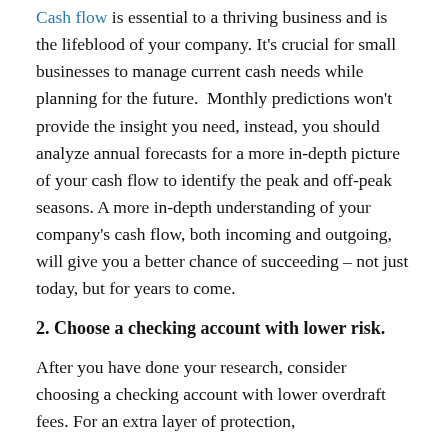Cash flow is essential to a thriving business and is the lifeblood of your company. It's crucial for small businesses to manage current cash needs while planning for the future. Monthly predictions won't provide the insight you need, instead, you should analyze annual forecasts for a more in-depth picture of your cash flow to identify the peak and off-peak seasons. A more in-depth understanding of your company's cash flow, both incoming and outgoing, will give you a better chance of succeeding – not just today, but for years to come.
2. Choose a checking account with lower risk.
After you have done your research, consider choosing a checking account with lower overdraft fees. For an extra layer of protection,